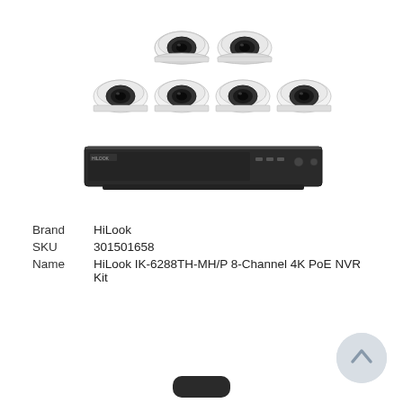[Figure (photo): HiLook security camera kit product photo showing 6 white dome cameras arranged in two rows (2 on top, 4 on bottom) above a black NVR recorder unit]
Brand  HiLook
SKU  301501658
Name  HiLook IK-6288TH-MH/P 8-Channel 4K PoE NVR Kit
More Info
[Figure (illustration): Scroll-to-top circular button with upward arrow, light grey]